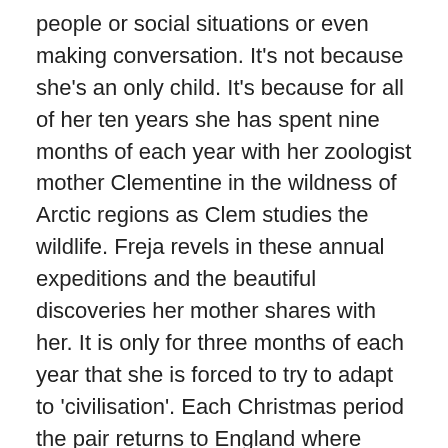people or social situations or even making conversation. It's not because she's an only child. It's because for all of her ten years she has spent nine months of each year with her zoologist mother Clementine in the wildness of Arctic regions as Clem studies the wildlife. Freja revels in these annual expeditions and the beautiful discoveries her mother shares with her. It is only for three months of each year that she is forced to try to adapt to 'civilisation'. Each Christmas period the pair returns to England where Clem lectures, raises funds and prepares for the next trip and Freja is endured by a parade of babysitters all of whom find her odd and 'difficult'.
This year things are different. Clem tells Freja that she is ill and she must go to Switzerland alone for her treatment. There will be no trip until she is well.  Freja is devastated – not just because of the trip but the trauma of being